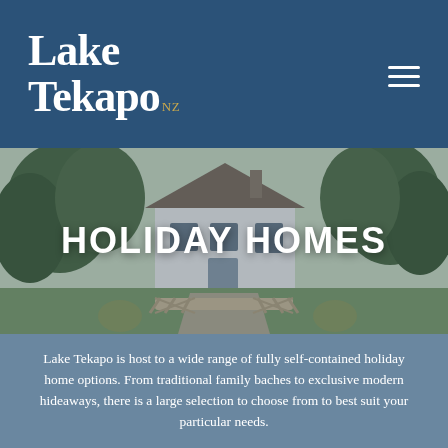Lake Tekapo NZ
HOLIDAY HOMES
Lake Tekapo is host to a wide range of fully self-contained holiday home options. From traditional family baches to exclusive modern hideaways, there is a large selection to choose from to best suit your particular needs.